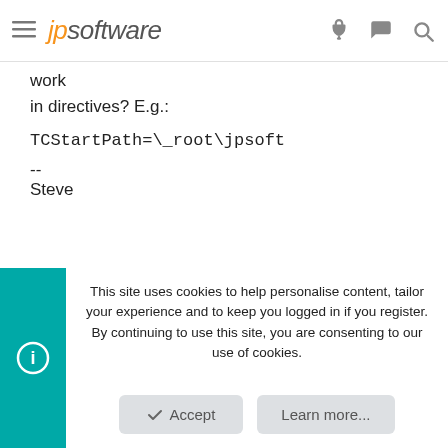jpsoftware
work
in directives? E.g.:
TCStartPath=\_root\jpsoft
--
Steve
rconn
Administrator
This site uses cookies to help personalise content, tailor your experience and to keep you logged in if you register.
By continuing to use this site, you are consenting to our use of cookies.